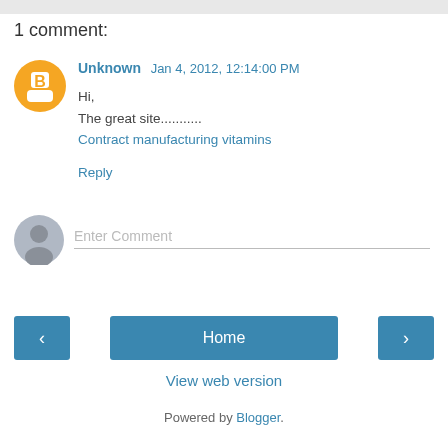1 comment:
Unknown  Jan 4, 2012, 12:14:00 PM
Hi,
The great site...........
Contract manufacturing vitamins
Reply
Enter Comment
‹   Home   ›
View web version
Powered by Blogger.